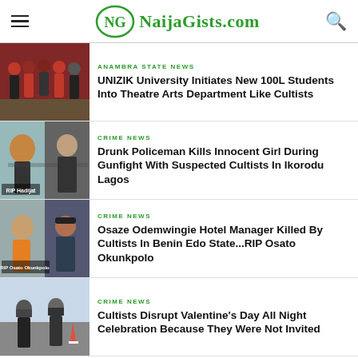NaijaGists.com
[Figure (photo): Group of students in red and black costumes during UNIZIK Theatre Arts initiation]
ANAMBRA STATE NEWS
UNIZIK University Initiates New 100L Students Into Theatre Arts Department Like Cultists
[Figure (photo): Portrait of a young girl with RIP Hadijat label and police officer in background]
CRIME NEWS
Drunk Policeman Kills Innocent Girl During Gunfight With Suspected Cultists In Ikorodu Lagos
[Figure (photo): Two people with RIP Osato Okunkpolo label]
CRIME NEWS
Osaze Odemwingie Hotel Manager Killed By Cultists In Benin Edo State...RIP Osato Okunkpolo
[Figure (photo): Police officers in riot gear on street]
CRIME NEWS
Cultists Disrupt Valentine's Day All Night Celebration Because They Were Not Invited